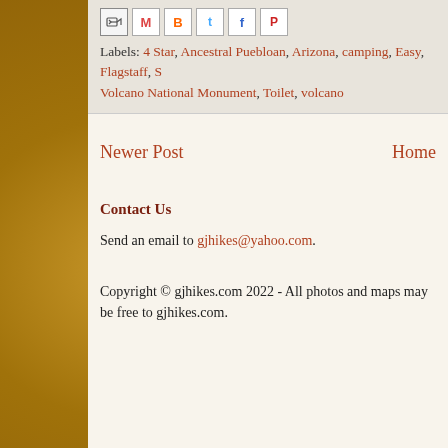[Figure (other): Share/action icons row: email forward icon, Gmail M icon, Blogger B icon, Twitter bird icon, Facebook f icon, Pinterest P icon]
Labels: 4 Star, Ancestral Puebloan, Arizona, camping, Easy, Flagstaff, S... Volcano National Monument, Toilet, volcano
Newer Post   Home
Contact Us
Send an email to gjhikes@yahoo.com.
Copyright © gjhikes.com 2022 - All photos and maps may be free... to gjhikes.com.